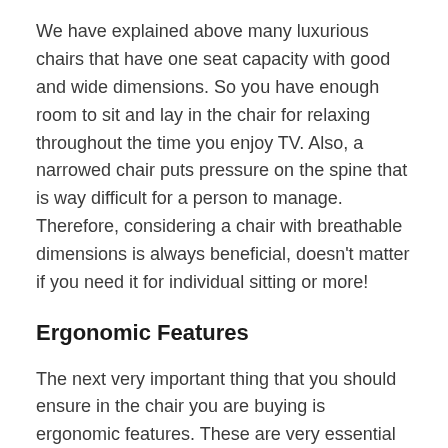We have explained above many luxurious chairs that have one seat capacity with good and wide dimensions. So you have enough room to sit and lay in the chair for relaxing throughout the time you enjoy TV. Also, a narrowed chair puts pressure on the spine that is way difficult for a person to manage. Therefore, considering a chair with breathable dimensions is always beneficial, doesn't matter if you need it for individual sitting or more!
Ergonomic Features
The next very important thing that you should ensure in the chair you are buying is ergonomic features. These are very essential to have as it allows the person to change one position or set it to